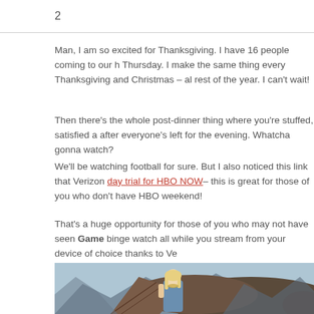2
Man, I am so excited for Thanksgiving. I have 16 people coming to our h Thursday. I make the same thing every Thanksgiving and Christmas – a rest of the year. I can't wait!
Then there's the whole post-dinner thing where you're stuffed, satisfied a after everyone's left for the evening. Whatcha gonna watch?
We'll be watching football for sure. But I also noticed this link that Verizon day trial for HBO NOW– this is great for those of you who don't have HBO weekend!
That's a huge opportunity for those of you who may not have seen Game of Thrones binge watch all while you stream from your device of choice thanks to Ve
[Figure (photo): Photo of a woman with blonde hair in a blue dress standing in front of a large dragon, appears to be from Game of Thrones (character Daenerys Targaryen).]